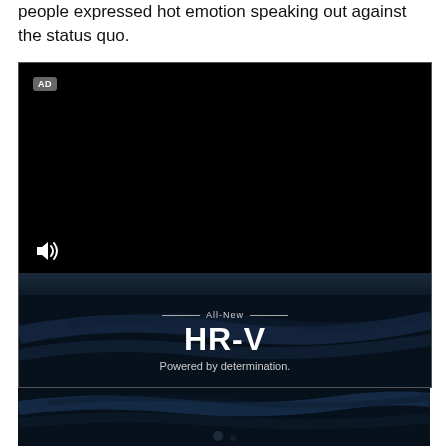people expressed hot emotion speaking out against the status quo.
[Figure (screenshot): Video advertisement for Honda HR-V. Top portion shows a black video player frame with an 'AD' label in the upper left and a speaker/volume icon in the lower left. Below is a dark abstract automotive background image. Overlaid text reads 'All-New HR-V Powered by determination.']